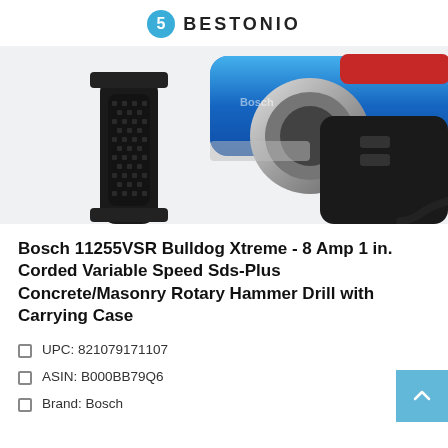BESTONIO
[Figure (photo): Close-up product photo of a Bosch rotary hammer drill (Bulldog Xtreme), showing a black rubberized side handle on the left and the blue and silver body of the drill on the right, against a light gray background.]
Bosch 11255VSR Bulldog Xtreme - 8 Amp 1 in. Corded Variable Speed Sds-Plus Concrete/Masonry Rotary Hammer Drill with Carrying Case
UPC: 821079171107
ASIN: B000BB79Q6
Brand: Bosch